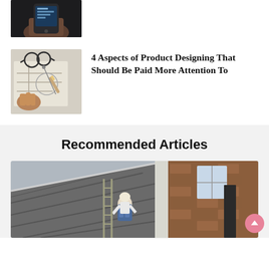[Figure (photo): Partial view of a hand holding a smartphone with a dark screen showing uptime or status info]
[Figure (photo): Person drawing/designing with glasses, pencil, ruler and blueprint on desk]
4 Aspects of Product Designing That Should Be Paid More Attention To
Recommended Articles
[Figure (photo): Worker on a roof/ladder working on a brick house exterior, wearing backpack]